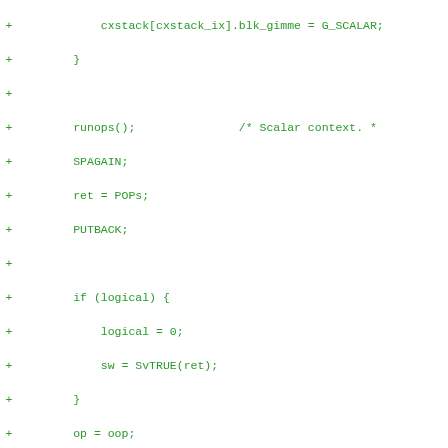[Figure (screenshot): Code diff showing changes in C/Perl source code with added lines (green, +) and removed lines (red, -). The diff shows code related to cxstack, runops, logical/scalar context handling, and regex paren tracking with changes from ARG1/regstartp to ARG/reg_start_tmp.]